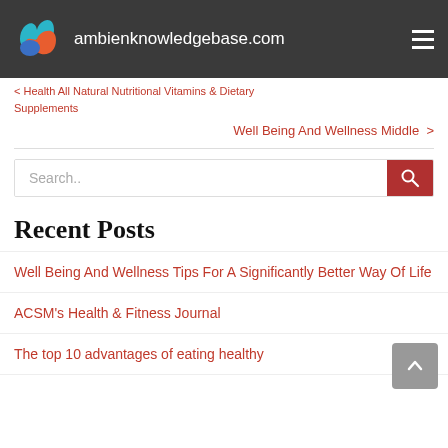ambienknowledgebase.com
< Health All Natural Nutritional Vitamins & Dietary Supplements
Well Being And Wellness Middle >
Search..
Recent Posts
Well Being And Wellness Tips For A Significantly Better Way Of Life
ACSM's Health & Fitness Journal
The top 10 advantages of eating healthy